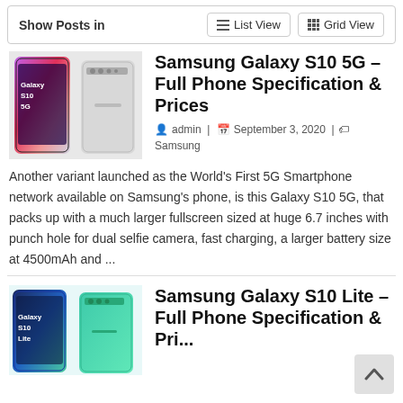Show Posts in | List View | Grid View
Samsung Galaxy S10 5G – Full Phone Specification & Prices
admin | September 3, 2020 | Samsung
[Figure (photo): Samsung Galaxy S10 5G phone front and back view]
Another variant launched as the World's First 5G Smartphone network available on Samsung's phone, is this Galaxy S10 5G, that packs up with a much larger fullscreen sized at huge 6.7 inches with punch hole for dual selfie camera, fast charging, a larger battery size at 4500mAh and ...
Samsung Galaxy S10 Lite – Full Phone Specification & Pri...
[Figure (photo): Samsung Galaxy S10 Lite phone front and back view]